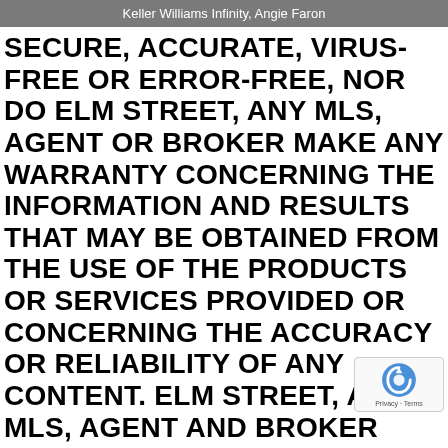Keller Williams Infinity, Angie Faron
SECURE, ACCURATE, VIRUS-FREE OR ERROR-FREE, NOR DO ELM STREET, ANY MLS, AGENT OR BROKER MAKE ANY WARRANTY CONCERNING THE INFORMATION AND RESULTS THAT MAY BE OBTAINED FROM THE USE OF THE PRODUCTS OR SERVICES PROVIDED OR CONCERNING THE ACCURACY OR RELIABILITY OF ANY CONTENT. ELM STREET, ANY MLS, AGENT AND BROKER MAKE NO WARRANTY REGARDING ANY ADVERTISEMENT OR PROMOTION OF ANY KIND ON THE ELM STREET APPLICATION OR ANY INFORMATION OBTAINED FROM ANY HYPERLINKED THIRD PARTY SITE, INCLUDING ANY ADVERTISER OR SERVICE PROVIDER SITE. ELM STREET, ANY MLS, AGENT AND BROKER MAKE NO WARRANTY REGARDING THE RELATIONSHIPS BETWEEN ADVERTISERS OR SERVICE